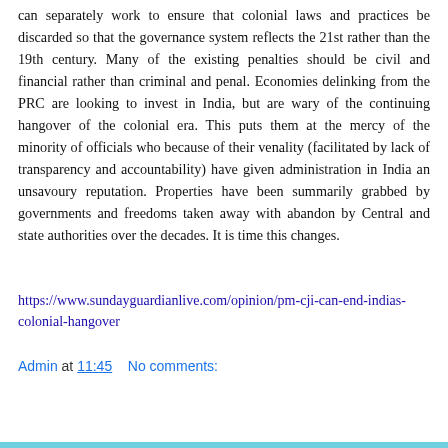can separately work to ensure that colonial laws and practices be discarded so that the governance system reflects the 21st rather than the 19th century. Many of the existing penalties should be civil and financial rather than criminal and penal. Economies delinking from the PRC are looking to invest in India, but are wary of the continuing hangover of the colonial era. This puts them at the mercy of the minority of officials who because of their venality (facilitated by lack of transparency and accountability) have given administration in India an unsavoury reputation. Properties have been summarily grabbed by governments and freedoms taken away with abandon by Central and state authorities over the decades. It is time this changes.
https://www.sundayguardianlive.com/opinion/pm-cji-can-end-indias-colonial-hangover
Admin at 11:45    No comments:
Share